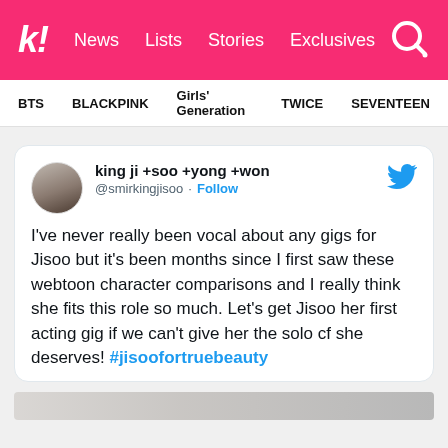k! News Lists Stories Exclusives
BTS BLACKPINK Girls' Generation TWICE SEVENTEEN
king ji +soo +yong +won @smirkingjisoo · Follow

I've never really been vocal about any gigs for Jisoo but it's been months since I first saw these webtoon character comparisons and I really think she fits this role so much. Let's get Jisoo her first acting gig if we can't give her the solo cf she deserves! #jisoofortruebeauty